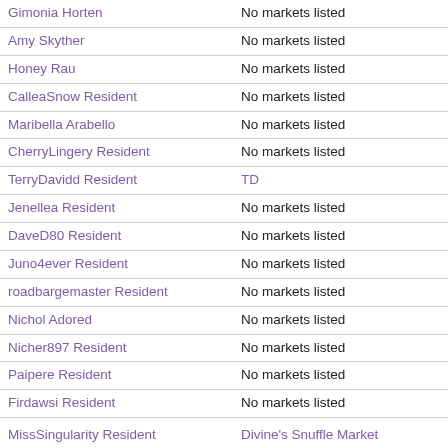| Name | Market |
| --- | --- |
| Gimonia Horten | No markets listed |
| Amy Skyther | No markets listed |
| Honey Rau | No markets listed |
| CalleaSnow Resident | No markets listed |
| Maribella Arabello | No markets listed |
| CherryLingery Resident | No markets listed |
| TerryDavidd Resident | TD |
| Jenellea Resident | No markets listed |
| DaveD80 Resident | No markets listed |
| Juno4ever Resident | No markets listed |
| roadbargemaster Resident | No markets listed |
| Nichol Adored | No markets listed |
| Nicher897 Resident | No markets listed |
| Paipere Resident | No markets listed |
| Firdawsi Resident | No markets listed |
| MissSingularity Resident | Divine's Snuffle Market |
| Mysoulmelody Resident | No markets listed |